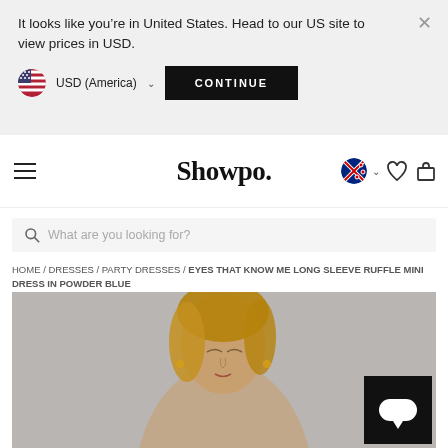It looks like you're in United States. Head to our US site to view prices in USD.
USD (America) CONTINUE
Showpo.
What are you looking for?
HOME / DRESSES / PARTY DRESSES / EYES THAT KNOW ME LONG SLEEVE RUFFLE MINI DRESS IN POWDER BLUE
[Figure (photo): Product photo of a woman wearing a powder blue ruffle mini dress, blonde hair, gray background. Chat widget overlay in bottom right.]